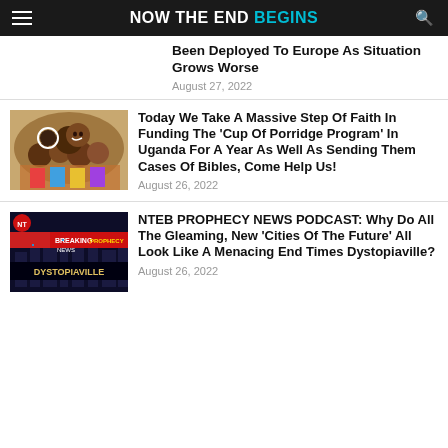NOW THE END BEGINS
Been Deployed To Europe As Situation Grows Worse
August 27, 2022
[Figure (photo): Crowd of people in Uganda, children smiling]
Today We Take A Massive Step Of Faith In Funding The 'Cup Of Porridge Program' In Uganda For A Year As Well As Sending Them Cases Of Bibles, Come Help Us!
August 26, 2022
[Figure (screenshot): NTEB Breaking Prophecy News - Dystopiaville banner image]
NTEB PROPHECY NEWS PODCAST: Why Do All The Gleaming, New 'Cities Of The Future' All Look Like A Menacing End Times Dystopiaville?
August 26, 2022